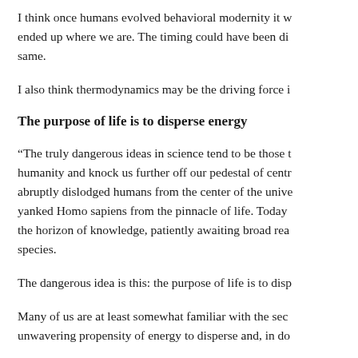I think once humans evolved behavioral modernity it w… ended up where we are. The timing could have been di… same.
I also think thermodynamics may be the driving force i…
The purpose of life is to disperse energy
“The truly dangerous ideas in science tend to be those t… humanity and knock us further off our pedestal of centr… abruptly dislodged humans from the center of the unive… yanked Homo sapiens from the pinnacle of life. Today … the horizon of knowledge, patiently awaiting broad rea… species.
The dangerous idea is this: the purpose of life is to disp…
Many of us are at least somewhat familiar with the sec… unwavering propensity of energy to disperse and, in do…